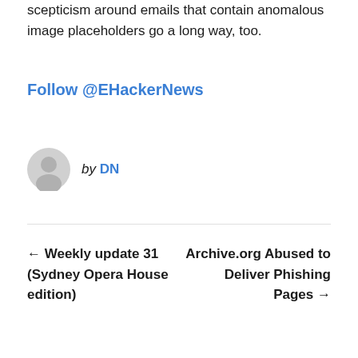scepticism around emails that contain anomalous image placeholders go a long way, too.
Follow @EHackerNews
by DN
← Weekly update 31 (Sydney Opera House edition)
Archive.org Abused to Deliver Phishing Pages →